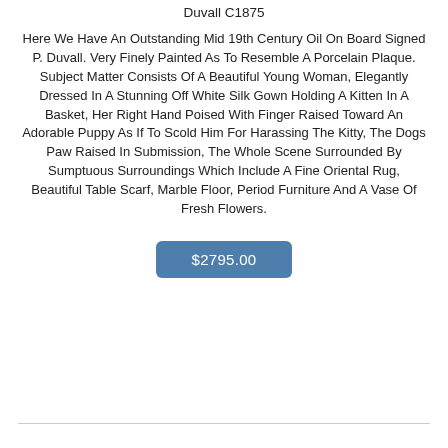Duvall C1875
Here We Have An Outstanding Mid 19th Century Oil On Board Signed P. Duvall. Very Finely Painted As To Resemble A Porcelain Plaque. Subject Matter Consists Of A Beautiful Young Woman, Elegantly Dressed In A Stunning Off White Silk Gown Holding A Kitten In A Basket, Her Right Hand Poised With Finger Raised Toward An Adorable Puppy As If To Scold Him For Harassing The Kitty, The Dogs Paw Raised In Submission, The Whole Scene Surrounded By Sumptuous Surroundings Which Include A Fine Oriental Rug, Beautiful Table Scarf, Marble Floor, Period Furniture And A Vase Of Fresh Flowers.
$2795.00